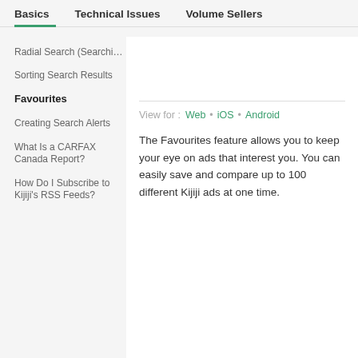Basics  Technical Issues  Volume Sellers
Radial Search (Searching)
Sorting Search Results
Favourites
Creating Search Alerts
What Is a CARFAX Canada Report?
How Do I Subscribe to Kijiji's RSS Feeds?
View for :   Web • iOS • Android
The Favourites feature allows you to keep your eye on ads that interest you. You can easily save and compare up to 100 different Kijiji ads at one time.